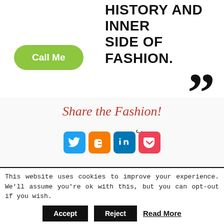HISTORY AND INNER SIDE OF FASHION.
[Figure (other): Green pill-shaped Call Me button]
[Figure (other): Large closing quotation marks decorative element]
Share the Fashion!
[Figure (other): Social media sharing icons: Twitter, Blogger, LinkedIn, Pocket]
[Figure (other): Dark footer section with Facebook, YouTube, and Pinterest circular social media icons]
This website uses cookies to improve your experience. We'll assume you're ok with this, but you can opt-out if you wish.
Accept   Reject   Read More